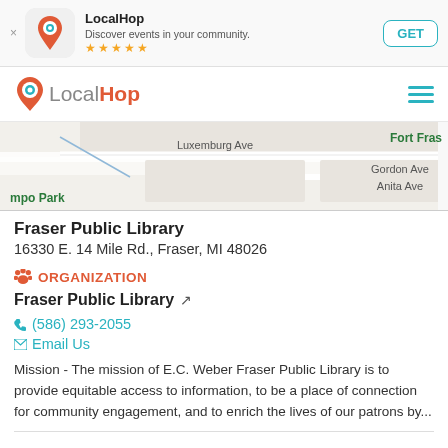[Figure (screenshot): App store banner for LocalHop app with icon, name, tagline, star rating, and GET button]
LocalHop
[Figure (map): Street map showing Luxemburg Ave, Gordon Ave, Utica Rd, Fort Fras area, mpo Park, and Anita Ave]
Fraser Public Library
16330 E. 14 Mile Rd., Fraser, MI 48026
ORGANIZATION
Fraser Public Library
(586) 293-2055
Email Us
Mission - The mission of E.C. Weber Fraser Public Library is to provide equitable access to information, to be a place of connection for community engagement, and to enrich the lives of our patrons by...